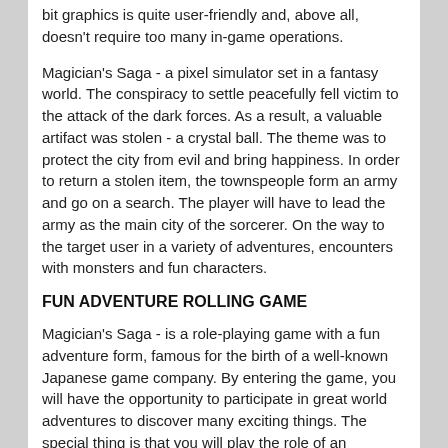bit graphics is quite user-friendly and, above all, doesn't require too many in-game operations.
Magician's Saga - a pixel simulator set in a fantasy world. The conspiracy to settle peacefully fell victim to the attack of the dark forces. As a result, a valuable artifact was stolen - a crystal ball. The theme was to protect the city from evil and bring happiness. In order to return a stolen item, the townspeople form an army and go on a search. The player will have to lead the army as the main city of the sorcerer. On the way to the target user in a variety of adventures, encounters with monsters and fun characters.
FUN ADVENTURE ROLLING GAME
Magician's Saga - is a role-playing game with a fun adventure form, famous for the birth of a well-known Japanese game company. By entering the game, you will have the opportunity to participate in great world adventures to discover many exciting things. The special thing is that you will play the role of an enchanted hero in this relaxing action and simulation game. Build a small town to hide from attacking